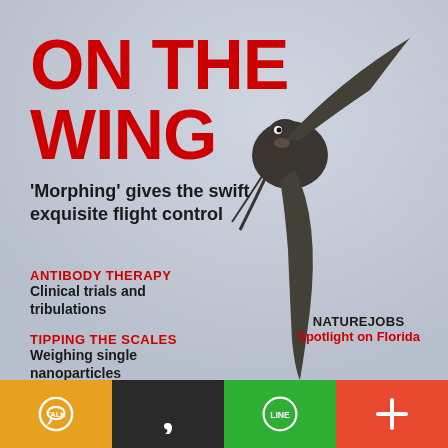[Figure (photo): A swift bird photographed from below against a pale grey-blue sky, with wings swept back and a long forked tail visible, body round and dark.]
ON THE WING
'Morphing' gives the swift exquisite flight control
ANTIBODY THERAPY
Clinical trials and tribulations
TIPPING THE SCALES
Weighing single nanoparticles
THE OCEAN CARBON CYCLE
Iron as a natural fertilizer
NATUREJOBS
Spotlight on Florida
[Figure (logo): Yellow segment with KakaoTalk bubble icon (white)]
[Figure (logo): Dark segment with white quotation mark / comma icon]
[Figure (logo): Green segment with LINE app circle icon (white)]
[Figure (logo): Red-orange segment with white plus sign icon]